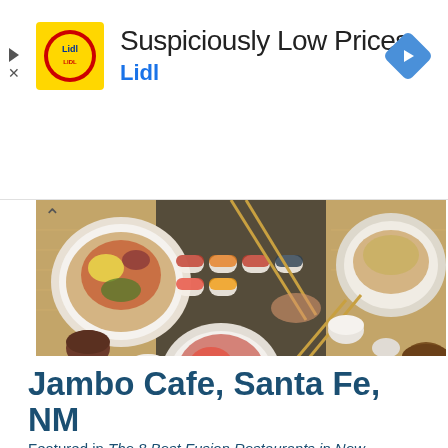[Figure (infographic): Lidl advertisement banner with Lidl logo (yellow background with red circle and Lidl text), headline 'Suspiciously Low Prices', brand name 'Lidl' in blue, and a blue diamond navigation arrow icon on the right]
[Figure (photo): Overhead view of an Asian food spread on a dark table — sushi rolls, bowls with rice and toppings, various dishes, hands holding chopsticks picking up food, small cups of tea and soy sauce]
Jambo Cafe, Santa Fe, NM
Featured in The 8 Best Fusion Restaurants in New Mexico!
In Swahili, jambo means hello. That's what you'll exclaim here — hello to a mix of Indian, Arabic, European and of